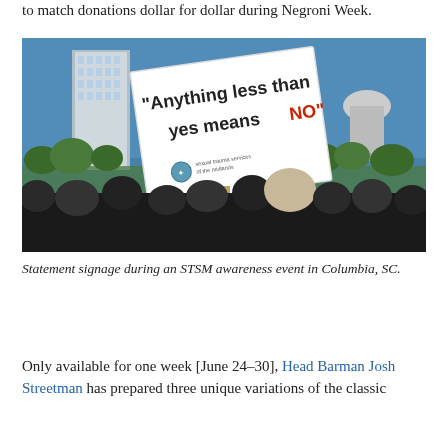to match donations dollar for dollar during Negroni Week.
[Figure (photo): A crowd of people at an outdoor awareness event. Someone holds a large white sign on a wooden stick that reads "Anything less than yes means NO" with a Sexual Trauma Services of the Midlands logo at the bottom. A tall office building and a domed capitol building are visible in the background under a blue sky.]
Statement signage during an STSM awareness event in Columbia, SC.
Only available for one week [June 24–30], Head Barman Josh Streetman has prepared three unique variations of the classic